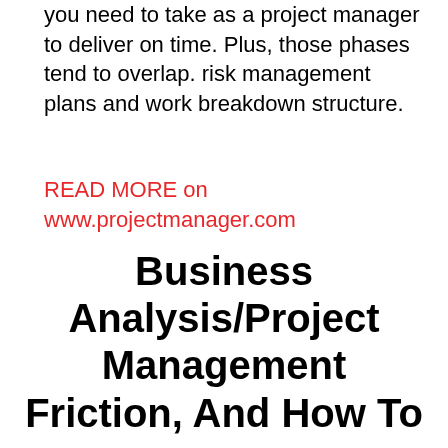you need to take as a project manager to deliver on time. Plus, those phases tend to overlap. risk management plans and work breakdown structure.
READ MORE on www.projectmanager.com
Business Analysis/Project Management Friction, And How To ...